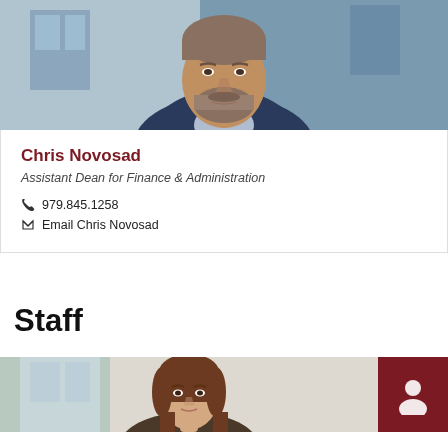[Figure (photo): Professional headshot of Chris Novosad, a bearded man in a blue blazer, photographed outdoors]
Chris Novosad
Assistant Dean for Finance & Administration
979.845.1258
Email Chris Novosad
Staff
[Figure (photo): Partial headshot of a woman with brown hair, photographed indoors, with a dark red square overlay on the right side containing a person icon]